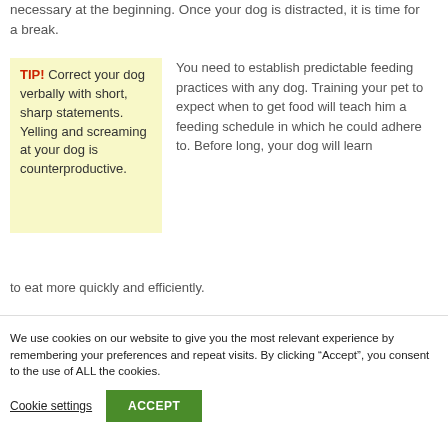necessary at the beginning. Once your dog is distracted, it is time for a break.
TIP! Correct your dog verbally with short, sharp statements. Yelling and screaming at your dog is counterproductive.
You need to establish predictable feeding practices with any dog. Training your pet to expect when to get food will teach him a feeding schedule in which he could adhere to. Before long, your dog will learn to eat more quickly and efficiently.
We use cookies on our website to give you the most relevant experience by remembering your preferences and repeat visits. By clicking “Accept”, you consent to the use of ALL the cookies.
Cookie settings
ACCEPT